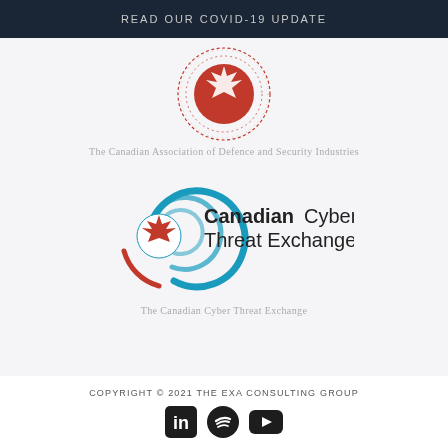READ OUR COVID-19 UPDATE
[Figure (logo): Canadian Association of Defence and Security Industries circular logo with maple leaf]
The Canadian Association of Defence and Security Industries
[Figure (logo): Canadian Cyber Threat Exchange logo with teal concentric arcs, red maple leaf, and bold text]
The Canadian Cyber Threat Exchange
COPYRIGHT © 2021 THE EXA CONSULTING GROUP
[Figure (other): Social media icons: LinkedIn, Spotify, YouTube]